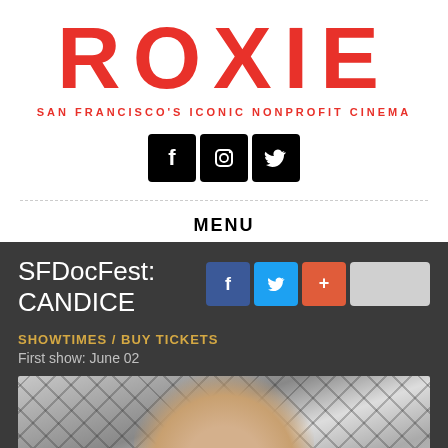ROXIE
SAN FRANCISCO'S ICONIC NONPROFIT CINEMA
[Figure (other): Three social media icon buttons (Facebook, Instagram, Twitter) in black square rounded boxes]
MENU
SFDocFest: CANDICE
[Figure (other): Share buttons row: Facebook (blue), Twitter (light blue), Plus (orange-red), and a blank white/grey button]
SHOWTIMES / BUY TICKETS
First show: June 02
[Figure (photo): Black and white photo of a woman (Candice) smiling, with short dark hair, wearing gloves, against a geometric patterned background]